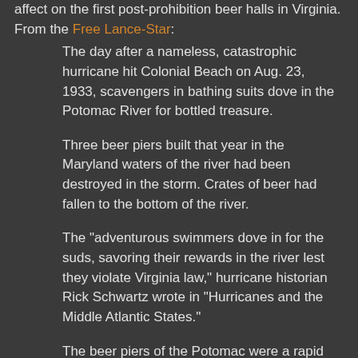affect on the first post-prohibition beer halls in Virginia. From the Free Lance-Star:
The day after a nameless, catastrophic hurricane hit Colonial Beach on Aug. 23, 1933, scavengers in bathing suits dove in the Potomac River for bottled treasure.
Three beer piers built that year in the Maryland waters of the river had been destroyed in the storm. Crates of beer had fallen to the bottom of the river.
The "adventurous swimmers dove in for the suds, savoring their rewards in the river lest they violate Virginia law," hurricane historian Rick Schwartz wrote in "Hurricanes and the Middle Atlantic States."
The beer piers of the Potomac were a rapid response by thirsty Virginians to the impending end of Prohibition. The 1920 amendment to the